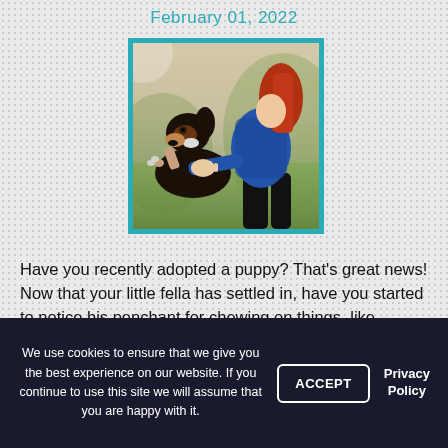February 01, 2022
[Figure (photo): A dog raising its paw toward a woman's outstretched hand, outdoors on grass, dog training scene]
Have you recently adopted a puppy? That’s great news! Now that your little fella has settled in, have you started to notice his penchant for chewing on things, like slippers and couch cushions? When this happens, a little dog training can go a long way towards keeping your home intact and keeping little Fido out of trouble...
We use cookies to ensure that we give you the best experience on our website. If you continue to use this site we will assume that you are happy with it.